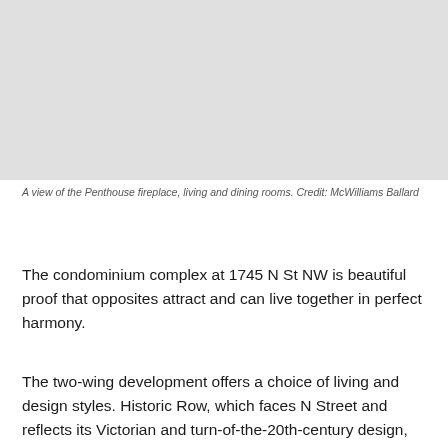[Figure (photo): A view of the Penthouse fireplace, living and dining rooms]
A view of the Penthouse fireplace, living and dining rooms. Credit: McWilliams Ballard
The condominium complex at 1745 N St NW is beautiful proof that opposites attract and can live together in perfect harmony.
The two-wing development offers a choice of living and design styles. Historic Row, which faces N Street and reflects its Victorian and turn-of-the-20th-century design, houses 29 residences with oversized windows, tall ceilings, spacious